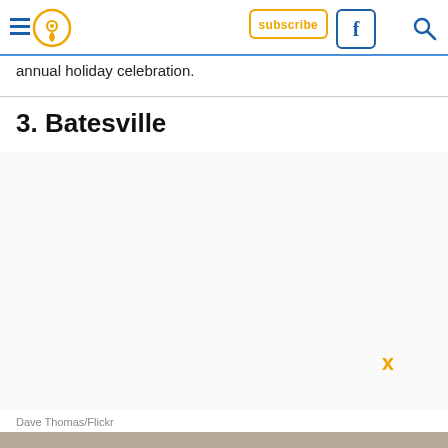Navigation header with hamburger menu, location pin icon, Facebook button, subscribe button, and search icon
annual holiday celebration.
3. Batesville
[Figure (photo): Large white/blank image area, photo credit: Dave Thomas/Flickr]
Dave Thomas/Flickr